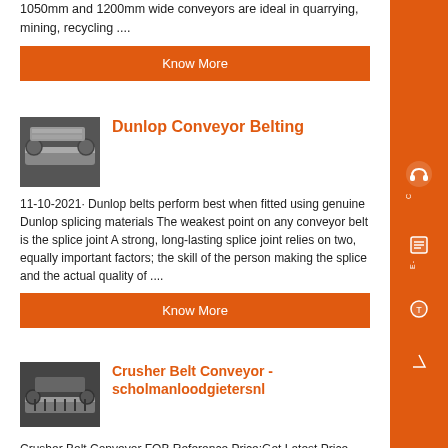1050mm and 1200mm wide conveyors are ideal in quarrying, mining, recycling ....
[Figure (other): Orange 'Know More' button]
[Figure (photo): Photo of a conveyor belt system]
Dunlop Conveyor Belting
11-10-2021· Dunlop belts perform best when fitted using genuine Dunlop splicing materials The weakest point on any conveyor belt is the splice joint A strong, long-lasting splice joint relies on two, equally important factors; the skill of the person making the splice and the actual quality of ....
[Figure (other): Orange 'Know More' button]
[Figure (photo): Photo of a crusher belt conveyor]
Crusher Belt Conveyor - scholmanloodgietersnl
Crusher Belt Conveyor FOB Reference Price:Get Latest Price 2020-5-19Application of Belt Conveyor Belt Conveyor is widely used in the field of mining metallurgical chemical industries foundry and building materials and applied in the work site of hydroelectric project and harbor as a delivery line for bulk materials as well as lump product...